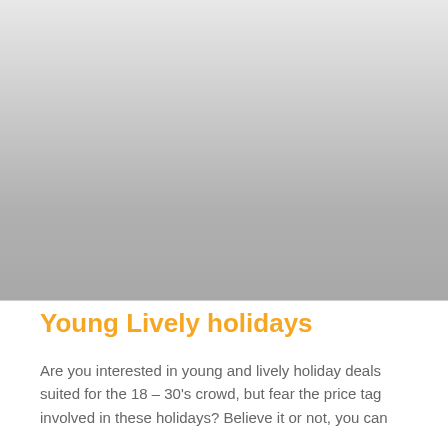[Figure (photo): A large photograph placeholder area with a grey gradient background, representing an image of a holiday scene for young and lively travelers.]
Young Lively holidays
Are you interested in young and lively holiday deals suited for the 18 – 30's crowd, but fear the price tag involved in these holidays? Believe it or not, you can